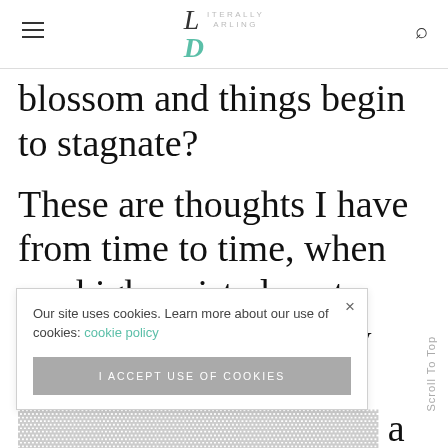Literally Darling
blossom and things begin to stagnate?
These are thoughts I have from time to time, when my high waisted pants curve outward over my stomach, when I feel [obscured] a midday [obscured] he mirror [obscured] from bathing suit season to fret over a bikini. I
Our site uses cookies. Learn more about our use of cookies: cookie policy
I ACCEPT USE OF COOKIES